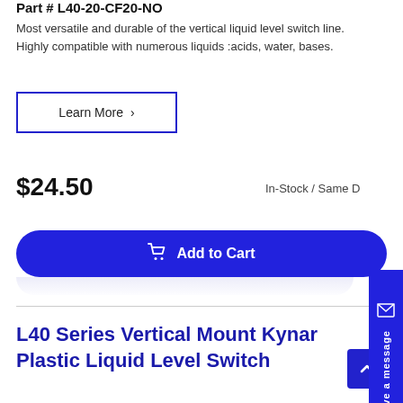Part # L40-20-CF20-NO
Most versatile and durable of the vertical liquid level switch line. Highly compatible with numerous liquids :acids, water, bases.
Learn More >
$24.50
In-Stock / Same D
Add to Cart
L40 Series Vertical Mount Kynar Plastic Liquid Level Switch